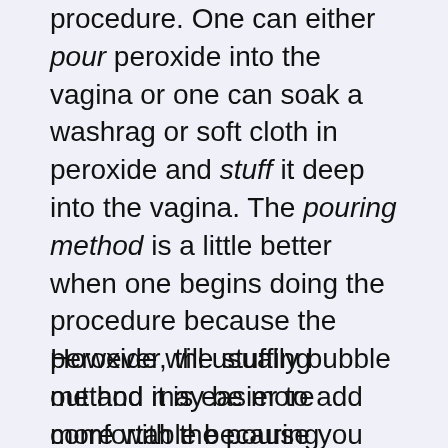procedure. One can either pour peroxide into the vagina or one can soak a washrag or soft cloth in peroxide and stuff it deep into the vagina. The pouring method is a little better when one begins doing the procedure because the peroxide will usually bubble out and it is easier to add more with the pouring method.
However, the stuffing method may be more comfortable because you don't have to angle your